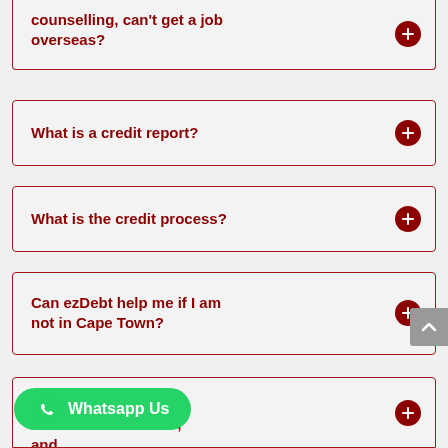counselling, can't get a job overseas?
What is a credit report?
What is the credit process?
Can ezDebt help me if I am not in Cape Town?
What is the difference between debt review, [debt counselling] and [sequestration]?